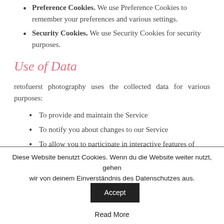Preference Cookies. We use Preference Cookies to remember your preferences and various settings.
Security Cookies. We use Security Cookies for security purposes.
Use of Data
retofuerst photography uses the collected data for various purposes:
To provide and maintain the Service
To notify you about changes to our Service
To allow you to participate in interactive features of our service when you choose
Diese Website benutzt Cookies. Wenn du die Website weiter nutzt, gehen wir von deinem Einverständnis des Datenschutzes aus.
Accept
Read More